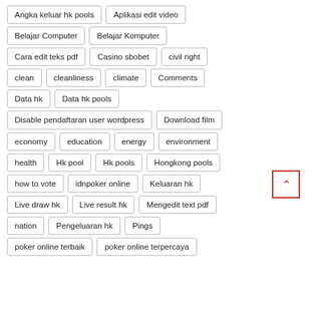Angka keluar hk pools
Aplikasi edit video
Belajar Computer
Belajar Komputer
Cara edit teks pdf
Casino sbobet
civil right
clean
cleanliness
climate
Comments
Data hk
Data hk pools
Disable pendaftaran user wordpress
Download film
economy
education
energy
environment
health
Hk pool
Hk pools
Hongkong pools
how to vote
idnpoker online
Keluaran hk
Live draw hk
Live result hk
Mengedit text pdf
nation
Pengeluaran hk
Pings
poker online terbaik
poker online terpercaya